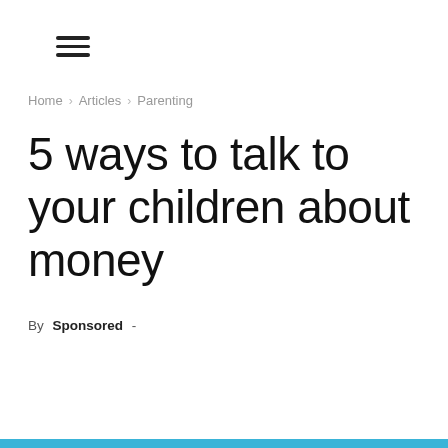≡ (menu icon)
Home › Articles › Parenting
5 ways to talk to your children about money
By Sponsored -